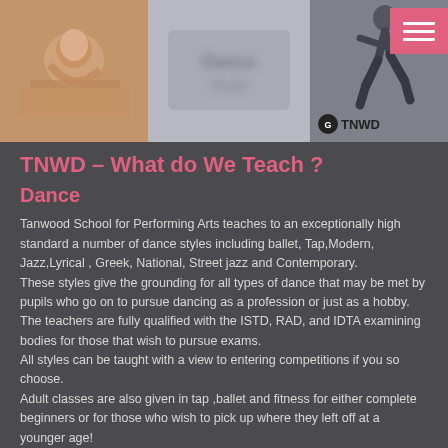[Figure (photo): Three header images: a dancer stretching on the floor, a blurred dance studio sign, and a dancer mid-leap with TNWD logo. A hamburger menu button in pink is in the top right corner.]
TNWD – What do We Teach ?
Dance
Tanwood School for Performing Arts teaches to an exceptionally high standard a number of dance styles including ballet, Tap,Modern, Jazz,Lyrical , Greek, National, Street jazz and Contemporary.
These styles give the grounding for all types of dance that may be met by pupils who go on to pursue dancing as a profession or just as a hobby.
The teachers are fully qualified with the ISTD, RAD, and IDTA examining bodies for those that wish to pursue exams.
All styles can be taught with a view to entering competitions if you so choose.
Adult classes are also given in tap ,ballet and fitness for either complete beginners or for those who wish to pick up where they left off at a younger age!
Classes for Musical Theatre , Singing and Drama are given for those who